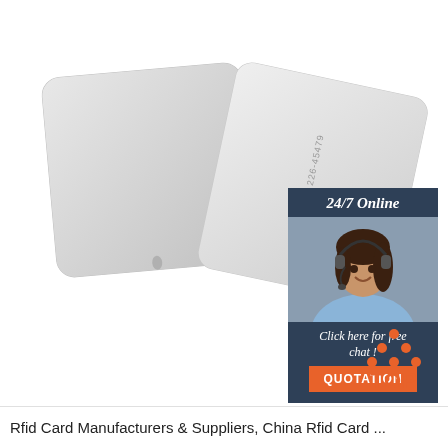[Figure (photo): Two white RFID proximity cards shown at an angle with serial numbers printed on them: 02608613SI 226-45479]
[Figure (infographic): 24/7 Online chat banner with woman wearing headset, 'Click here for free chat!' text, and orange QUOTATION button]
[Figure (logo): TOP logo with orange dots arranged in a triangle above the word TOP in orange]
Rfid Card Manufacturers & Suppliers, China Rfid Card ...